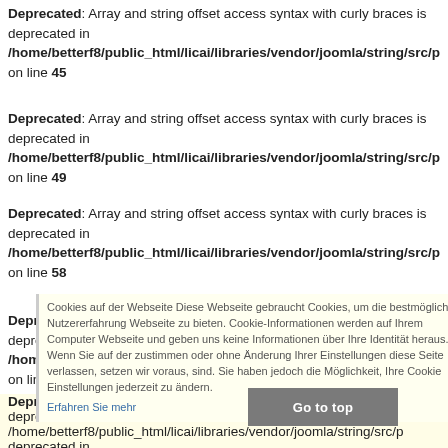Deprecated: Array and string offset access syntax with curly braces is deprecated in /home/betterf8/public_html/licai/libraries/vendor/joomla/string/src/p on line 45
Deprecated: Array and string offset access syntax with curly braces is deprecated in /home/betterf8/public_html/licai/libraries/vendor/joomla/string/src/p on line 49
Deprecated: Array and string offset access syntax with curly braces is deprecated in /home/betterf8/public_html/licai/libraries/vendor/joomla/string/src/p on line 58
Deprecated: Array and string offset access syntax with curly braces is deprecated in /home/betterf8/public_html/licai/libraries/vendor/joomla/string/src/p on line 62
Deprecated: Array and string offset access syntax with curly braces is deprecated in /home/betterf8/public_html/licai/libraries/vendor/joomla/string/src/p
Cookies auf der Webseite Diese Webseite gebraucht Cookies, um die bestmögliche Nutzererfahrung Webseite zu bieten. Cookie-Informationen werden auf Ihrem Computer Webseite und geben uns keine Informationen über Ihre Identität heraus. Wenn Sie auf der zustimmen oder ohne Änderung Ihrer Einstellungen diese Seite verlassen, setzen wir voraus, sind. Sie haben jedoch die Möglichkeit, Ihre Cookie Einstellungen jederzeit zu ändern. Erfahren Sie mehr
Go to top